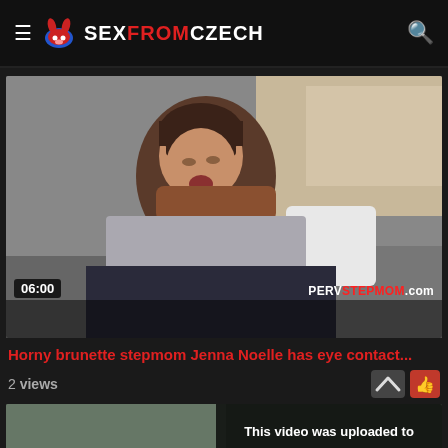SexFromCzech
[Figure (screenshot): Video thumbnail showing a brunette woman, duration badge 06:00, watermark PERVSTEPMOM.com]
Horny brunette stepmom Jenna Noelle has eye contact...
2 views
[Figure (screenshot): Partial thumbnail of another video with text 'This video was uploaded to']